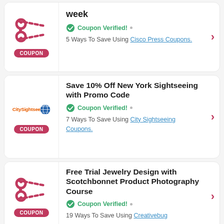[Figure (infographic): Coupon card 1: scissors icon with dashed line and COUPON badge on left; title text cut off at top, Coupon Verified badge, 5 Ways To Save Using Cisco Press Coupons.]
[Figure (infographic): Coupon card 2: CitySightseeing logo on left with COUPON badge; title Save 10% Off New York Sightseeing with Promo Code, Coupon Verified, 7 Ways To Save Using City Sightseeing Coupons.]
[Figure (infographic): Coupon card 3: scissors icon with dashed line and COUPON badge on left; title Free Trial Jewelry Design with Scotchbonnet Product Photography Course, Coupon Verified, 19 Ways To Save Using Creativebug]